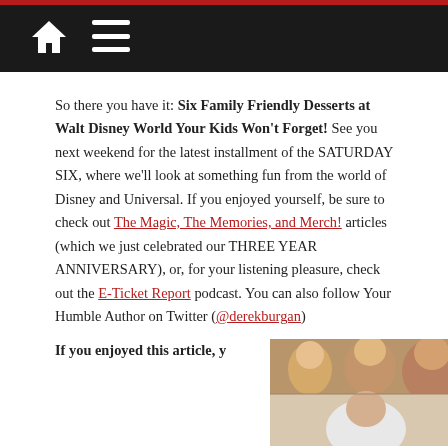Navigation bar with home and menu icons
So there you have it: Six Family Friendly Desserts at Walt Disney World Your Kids Won't Forget! See you next weekend for the latest installment of the SATURDAY SIX, where we'll look at something fun from the world of Disney and Universal. If you enjoyed yourself, be sure to check out The Magic, The Memories, and Merch! articles (which we just celebrated our THREE YEAR ANNIVERSARY), or, for your listening pleasure, check out the E-Ticket Report podcast. You can also follow Your Humble Author on Twitter (@derekburgan)
If you enjoyed this article, y
[Figure (photo): Photo of people smiling and laughing in what appears to be a restaurant or dining setting]